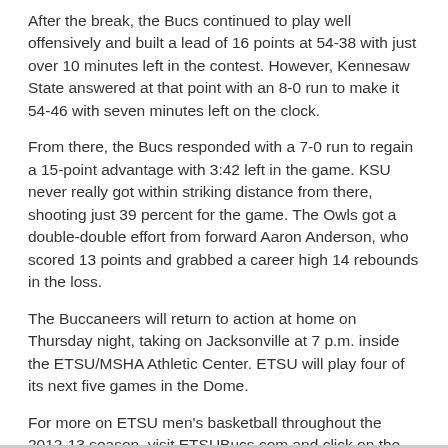After the break, the Bucs continued to play well offensively and built a lead of 16 points at 54-38 with just over 10 minutes left in the contest. However, Kennesaw State answered at that point with an 8-0 run to make it 54-46 with seven minutes left on the clock.
From there, the Bucs responded with a 7-0 run to regain a 15-point advantage with 3:42 left in the game. KSU never really got within striking distance from there, shooting just 39 percent for the game. The Owls got a double-double effort from forward Aaron Anderson, who scored 13 points and grabbed a career high 14 rebounds in the loss.
The Buccaneers will return to action at home on Thursday night, taking on Jacksonville at 7 p.m. inside the ETSU/MSHA Athletic Center. ETSU will play four of its next five games in the Dome.
For more on ETSU men's basketball throughout the 2012-13 season, visit ETSUBucs.com and click on the men's hoops link.